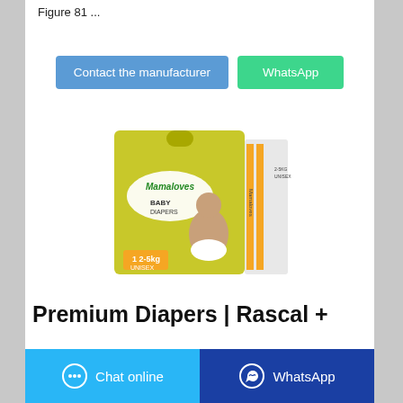Figure 81 ...
[Figure (screenshot): Two buttons: 'Contact the manufacturer' (blue) and 'WhatsApp' (green)]
[Figure (photo): Mamaloves Baby Diapers product box, yellow-green packaging, size 1, 2-5kg, Unisex]
Premium Diapers | Rascal +
[Figure (screenshot): Bottom bar with 'Chat online' (light blue) and 'WhatsApp' (dark blue) buttons]